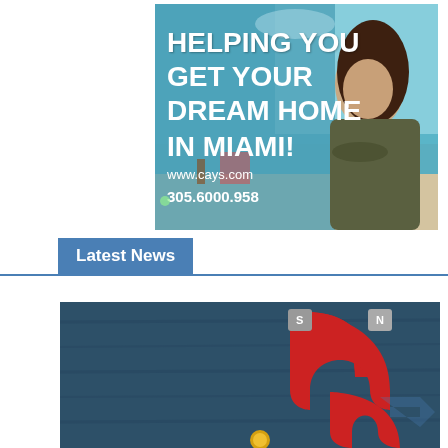[Figure (illustration): Real estate advertisement banner showing a woman with crossed arms on a Miami beach background. Text reads: HELPING YOU GET YOUR DREAM HOME IN MIAMI! www.cays.com 305.6000.958]
Latest News
[Figure (photo): Photo of two red horseshoe magnets on a dark teal/wood textured background, with what appears to be a small yellow coin or object at the bottom. A faint blue arrow watermark is visible in the lower right corner.]